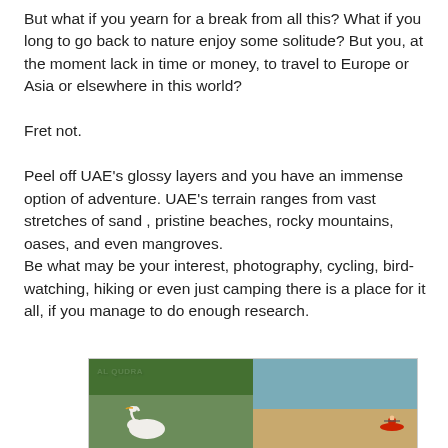But what if you yearn for a break from all this? What if you long to go back to nature enjoy some solitude? But you, at the moment lack in time or money, to travel to Europe or Asia or elsewhere in this world?

Fret not.

Peel off UAE's glossy layers and you have an immense option of adventure. UAE's terrain ranges from vast stretches of sand , pristine beaches, rocky mountains, oases, and even mangroves.
Be what may be your interest, photography, cycling, bird-watching, hiking or even just camping there is a place for it all, if you manage to do enough research.
[Figure (photo): Two side-by-side photos labeled 'AL QUDRA': left shows a white swan among green foliage/trees, right shows a beach or rocky shoreline with water and a person in a red kayak.]